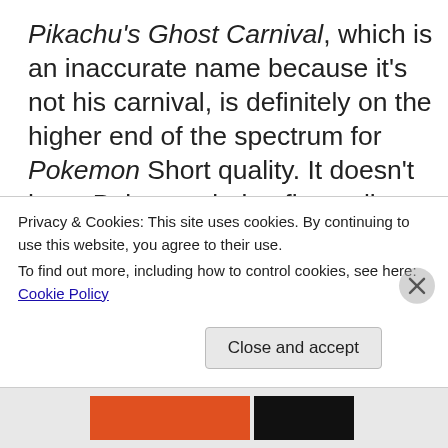Pikachu's Ghost Carnival, which is an inaccurate name because it's not his carnival, is definitely on the higher end of the spectrum for Pokemon Short quality. It doesn't have Pokemon being flung all over with no plot (Look at that plot synopsis. I have TWO paragraphs. TWO.) It's not just cute Pokemon being cute – it's a funny and clever I-guess-I'll-classify-it-as-Halloween-special-there's-a-jack-o-lantern-in-the-title-
Privacy & Cookies: This site uses cookies. By continuing to use this website, you agree to their use.
To find out more, including how to control cookies, see here: Cookie Policy
Close and accept